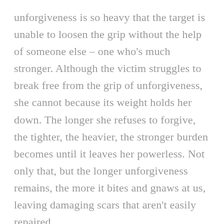unforgiveness is so heavy that the target is unable to loosen the grip without the help of someone else – one who's much stronger. Although the victim struggles to break free from the grip of unforgiveness, she cannot because its weight holds her down. The longer she refuses to forgive, the tighter, the heavier, the stronger burden becomes until it leaves her powerless. Not only that, but the longer unforgiveness remains, the more it bites and gnaws at us, leaving damaging scars that aren't easily repaired.